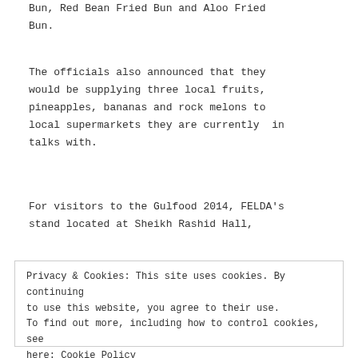Bun, Red Bean Fried Bun and Aloo Fried Bun.
The officials also announced that they would be supplying three local fruits, pineapples, bananas and rock melons to local supermarkets they are currently in talks with.
For visitors to the Gulfood 2014, FELDA's stand located at Sheikh Rashid Hall,
Privacy & Cookies: This site uses cookies. By continuing to use this website, you agree to their use.
To find out more, including how to control cookies, see here: Cookie Policy
Close and accept